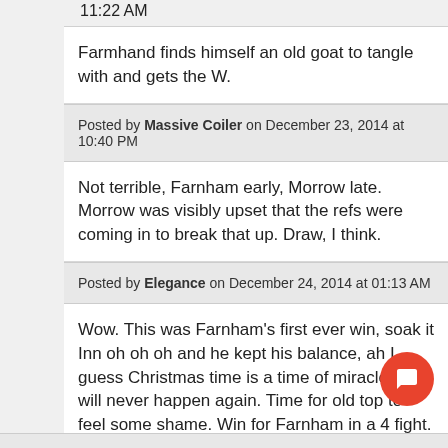11:22 AM
Farmhand finds himself an old goat to tangle with and gets the W.
Posted by Massive Coiler on December 23, 2014 at 10:40 PM
Not terrible, Farnham early, Morrow late. Morrow was visibly upset that the refs were coming in to break that up. Draw, I think.
Posted by Elegance on December 24, 2014 at 01:13 AM
Wow. This was Farnham's first ever win, soak it Inn oh oh oh and he kept his balance, ah I guess Christmas time is a time of miracles! It will never happen again. Time for old top to feel some shame. Win for Farnham in a 4 fight.